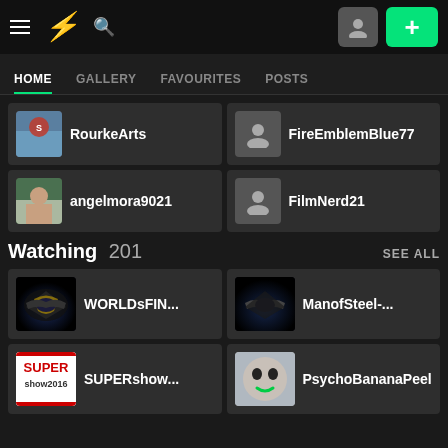DeviantArt navigation bar with HOME, GALLERY, FAVOURITES, POSTS tabs
RourkeArts
FireEmblemBlue77
angelmora9021
FilmNerd21
Watching 201
WORLDsFIN...
ManofSteel-...
SUPERshow...
PsychoBananaPeel